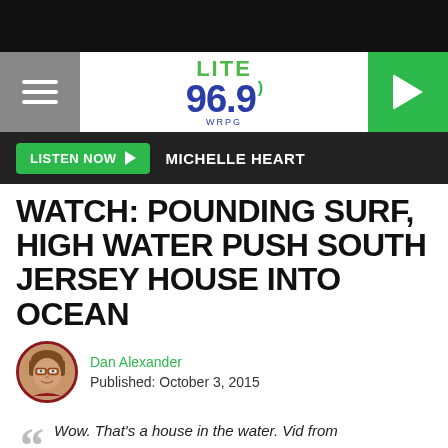[Figure (screenshot): Lite 96.9 WRPG radio station website header with hamburger menu, logo, and play button]
LISTEN NOW  MICHELLE HEART
WATCH: POUNDING SURF, HIGH WATER PUSH SOUTH JERSEY HOUSE INTO OCEAN
Dan Alexander
Published: October 3, 2015
Wow. That's a house in the water. Vid from @RaeganMedgie & her crew near Wildwood, NJ. #njwx #jerseyshore #floodhttps://t.co/rsx2YGBckQ